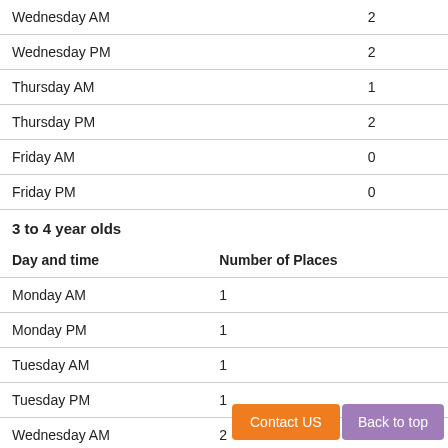| Day and time (continuation) |  |
| --- | --- |
| Wednesday AM | 2 |
| Wednesday PM | 2 |
| Thursday AM | 1 |
| Thursday PM | 2 |
| Friday AM | 0 |
| Friday PM | 0 |
3 to 4 year olds
| Day and time | Number of Places |
| --- | --- |
| Monday AM | 1 |
| Monday PM | 1 |
| Tuesday AM | 1 |
| Tuesday PM | 1 |
| Wednesday AM | 2 |
| Wednesday PM | 2 |